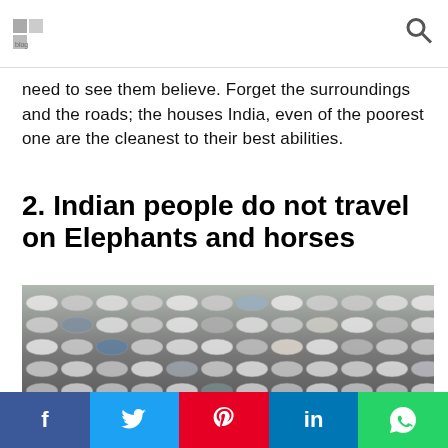[Website logo and search icon]
need to see them believe. Forget the surroundings and the roads; the houses India, even of the poorest one are the cleanest to their best abilities.
2. Indian people do not travel on Elephants and horses
[Figure (photo): Aerial view of a large parking lot filled with hundreds of white and colored cars arranged in rows]
f  [Twitter bird]  p  in  [WhatsApp]